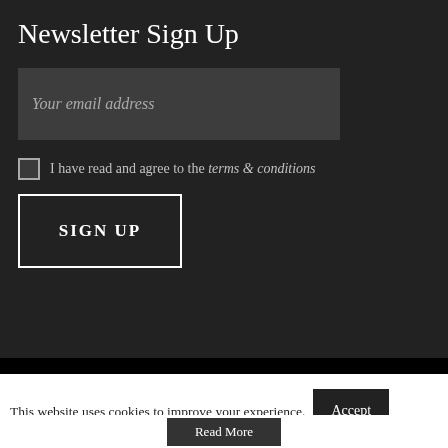Newsletter Sign Up
Your email address
I have read and agree to the terms & conditions
SIGN UP
This website uses cookies to improve your experience.
Accept
Read More